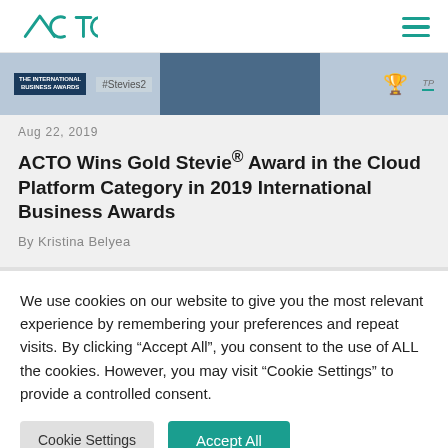ACTO
[Figure (photo): Banner image from an International Business Awards event showing #Stevies2 hashtag, a gold trophy award, and a TP logo]
Aug 22, 2019
ACTO Wins Gold Stevie® Award in the Cloud Platform Category in 2019 International Business Awards
By Kristina Belyea
We use cookies on our website to give you the most relevant experience by remembering your preferences and repeat visits. By clicking "Accept All", you consent to the use of ALL the cookies. However, you may visit "Cookie Settings" to provide a controlled consent.